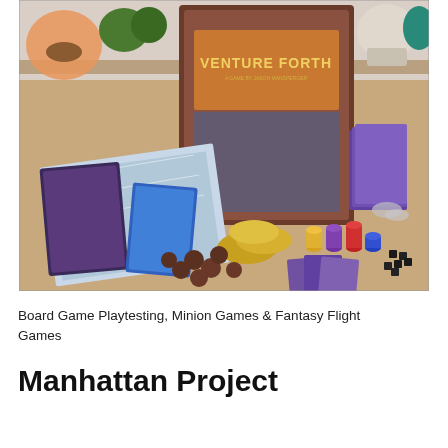[Figure (photo): Photograph of the Venture Forth board game components spread on a wooden table, including the game box, game board, cards, tokens, colored wooden pieces (yellow, purple, red, blue), gold coin tokens, dark cube tokens, and a skull decoration and lamp in the background.]
Board Game Playtesting, Minion Games & Fantasy Flight Games
Manhattan Project